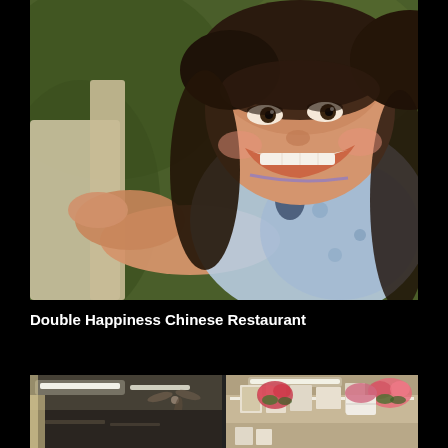[Figure (photo): A smiling young Asian girl with brown hair wearing a floral patterned sleeveless top, photographed outdoors with a blurred green background. She is holding onto what appears to a white railing or surface.]
Double Happiness Chinese Restaurant
[Figure (photo): Interior of a restaurant showing ceiling with fluorescent lighting strips, a ceiling fan, and walls decorated with framed pictures and flower arrangements.]